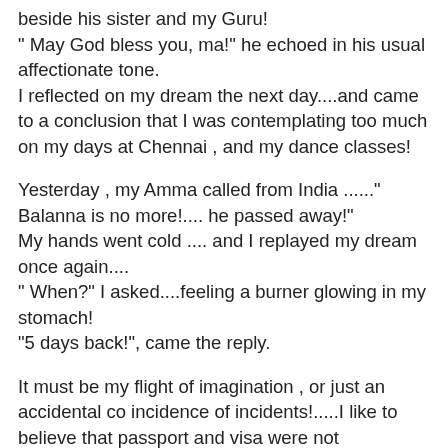beside his sister and my Guru!
" May God bless you, ma!" he echoed in his usual affectionate tone.
I reflected on my dream the next day....and came to a conclusion that I was contemplating too much on my days at Chennai , and my dance classes!
Yesterday , my Amma called from India ......" Balanna is no more!.... he passed away!"
My hands went cold .... and I replayed my dream once again....
" When?" I asked....feeling a burner glowing in my stomach!
"5 days back!", came the reply.
It must be my flight of imagination , or just an accidental co incidence of incidents!.....I like to believe that passport and visa were not hindrances for him , after he left his body....so that he could come and bestow his blessings on me!
I felt a pain rolling in my throat....trying to find a vent!... But I knew for sure that I was blessed!
Yes , when I open those gates again, I will no longer be welcomed by his kind talk and compassionate smile....